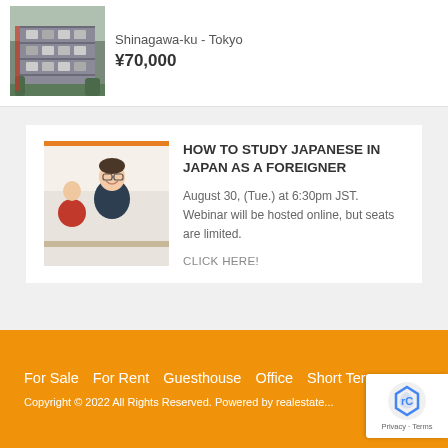[Figure (photo): Photo of a building/apartment exterior in Japan]
Shinagawa-ku - Tokyo
¥70,000
[Figure (photo): Photo of a smiling young man studying in a classroom]
HOW TO STUDY JAPANESE IN JAPAN AS A FOREIGNER
August 30, (Tue.) at 6:30pm JST. Webinar will be hosted online, but seats are limited.
CLICK HERE!
For Sale   For Rent   Guesthouse   Office   Short Terms
Copyright © 2022 All Rights Reserved. Powered by realestate...